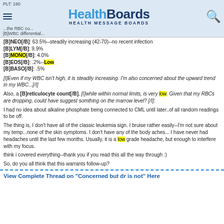PLT: 190 | HealthBoards HEALTH MESSAGE BOARDS
[B]NEO[/B]: 63.5%--steadily increasing (42-70)--no recent infection
[B]LYM[/B]: 9.9%
[B]MONO[/B]: 4.0%
[B]EOS[/B]: .2%--Low
[B]BASO[/B]: .5%
[I]Even if my WBC isn't high, it is steadily increasing. I'm also concerned about the upward trend in my WBC...[/I]
Also, a [B]reticulocyte count[/B], [I]while within normal limits, is very low. Given that my RBCs are dropping, could have suggest somthing on the marrow level? [/I]:
I had no idea about alkaline phosphate being connected to CML until later..of all random readings to be off.
The thing is, I don't have all of the classic leukemia sign. I bruise rather easily--I'm not sure about my temp...none of the skin symptoms. I don't have any of the body aches... I have never had headaches until the last few months. Usually, it is a low grade headache, but enough to interfere with my focus.
think i covered everything--thank you if you read this all the way through :)
So, do you all think that this warrants follow-up?
View Complete Thread on "Concerned but dr is not" Here